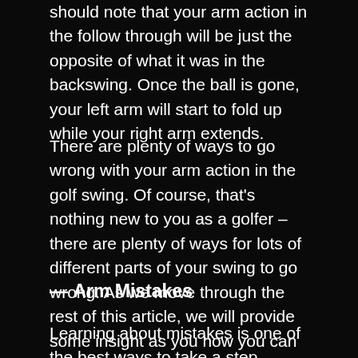should note that your arm action in the follow through will be just the opposite of what it was in the backswing. Once the ball is gone, your left arm will start to fold up while your right arm extends.
There are plenty of ways to go wrong with your arm action in the golf swing. Of course, that's nothing new to you as a golfer – there are plenty of ways for lots of different parts of your swing to go wrong. As we move through the rest of this article, we will provide some insight as you how you can avoid common mistakes and how you can work on improving the way your arms perform in the swing.
— Arm Mistakes
Learning about mistakes is one of the best ways to take a step forward in this game. By understand